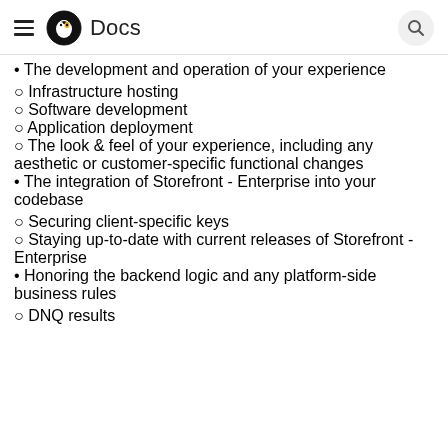Docs
The development and operation of your experience
Infrastructure hosting
Software development
Application deployment
The look & feel of your experience, including any aesthetic or customer-specific functional changes
The integration of Storefront - Enterprise into your codebase
Securing client-specific keys
Staying up-to-date with current releases of Storefront - Enterprise
Honoring the backend logic and any platform-side business rules
DNQ results